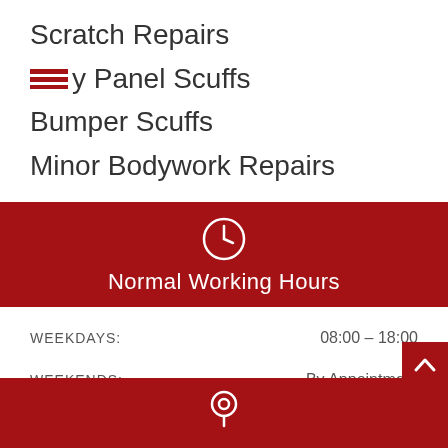Scratch Repairs
Body Panel Scuffs
Bumper Scuffs
Minor Bodywork Repairs
[Figure (infographic): Red banner with clock icon and text 'Normal Working Hours']
WEEKDAYS:    08:00 – 18:00
WEEKENDS:    By Appointment
OUT OF HOURS:    By Appointment
[Figure (infographic): Red bottom bar with location pin icon and scroll-to-top arrow button]